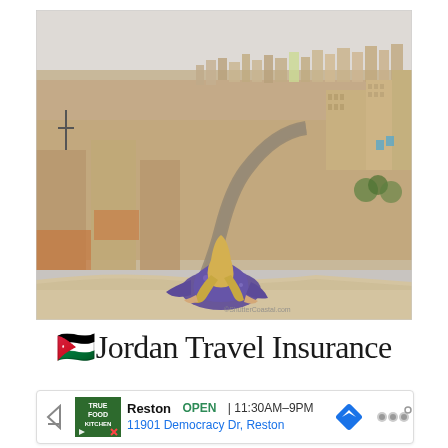[Figure (photo): A woman in a blue floral dress sits on a stone wall overlook, viewed from behind with long blonde hair, gazing over the sprawling sand-colored cityscape of Amman, Jordan. A Jordanian flag flies on a tall flagpole in the upper right background. The city extends across rolling hills covered in dense low-rise buildings.]
🇯🇴Jordan Travel Insurance
Reston  OPEN  |  11:30AM–9PM  11901 Democracy Dr, Reston